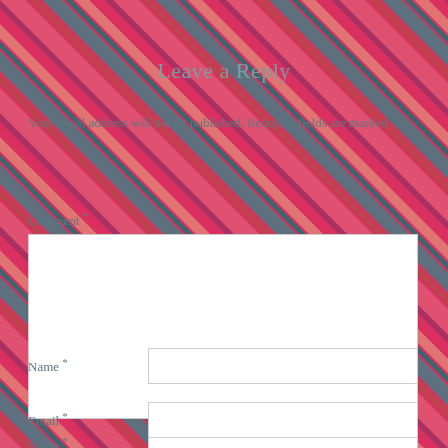Leave a Reply
Your email address will not be published. Required fields are marked *
Comment *
[Figure (other): Empty white comment text area input box]
Name *
[Figure (other): Empty white name input field]
Email *
[Figure (other): Empty white email input field]